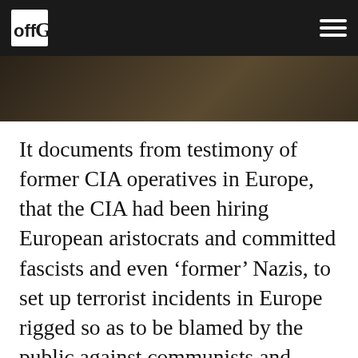offG
[Figure (photo): Partial photograph visible behind the navigation bar, showing a dark brownish scene.]
It documents from testimony of former CIA operatives in Europe, that the CIA had been hiring European aristocrats and committed fascists and even ‘former’ Nazis, to set up terrorist incidents in Europe rigged so as to be blamed by the public against communists and against any entities that were favorable in any way toward the Soviet Union. Numberless Europeans were injured and killed in terrorist incidents, by persons employed by CIA, who